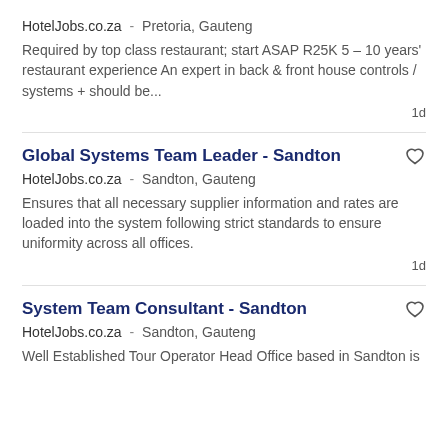HotelJobs.co.za  -   Pretoria, Gauteng
Required by top class restaurant; start ASAP R25K 5 – 10 years' restaurant experience An expert in back & front house controls / systems + should be...
1d
Global Systems Team Leader - Sandton
HotelJobs.co.za  -   Sandton, Gauteng
Ensures that all necessary supplier information and rates are loaded into the system following strict standards to ensure uniformity across all offices.
1d
System Team Consultant - Sandton
HotelJobs.co.za  -   Sandton, Gauteng
Well Established Tour Operator Head Office based in Sandton is